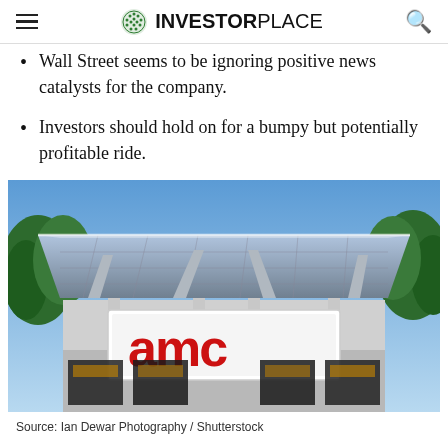InvestorPlace
Wall Street seems to be ignoring positive news catalysts for the company.
Investors should hold on for a bumpy but potentially profitable ride.
[Figure (photo): Exterior photo of an AMC movie theater building with a distinctive canopy roof structure and a large illuminated red AMC logo sign. Trees visible on the sides, blue sky in background.]
Source: Ian Dewar Photography / Shutterstock